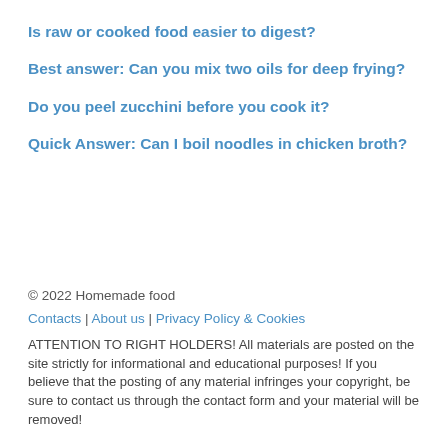Is raw or cooked food easier to digest?
Best answer: Can you mix two oils for deep frying?
Do you peel zucchini before you cook it?
Quick Answer: Can I boil noodles in chicken broth?
© 2022 Homemade food
Contacts | About us | Privacy Policy & Cookies
ATTENTION TO RIGHT HOLDERS! All materials are posted on the site strictly for informational and educational purposes! If you believe that the posting of any material infringes your copyright, be sure to contact us through the contact form and your material will be removed!